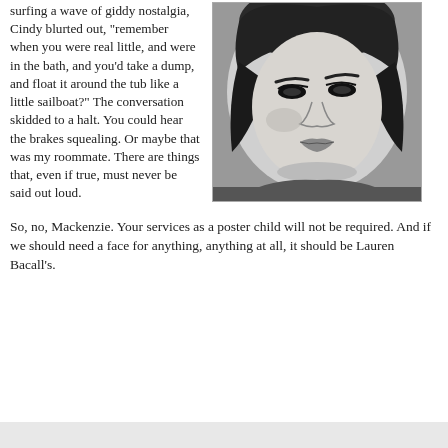surfing a wave of giddy nostalgia, Cindy blurted out, "remember when you were real little, and were in the bath, and you'd take a dump, and float it around the tub like a little sailboat?" The conversation skidded to a halt. You could hear the brakes squealing. Or maybe that was my roommate. There are things that, even if true, must never be said out loud.
[Figure (photo): Black and white portrait photograph of Lauren Bacall, a classic Hollywood actress, with dark hair and a glamorous, sultry expression, looking slightly to the side.]
So, no, Mackenzie. Your services as a poster child will not be required. And if we should need a face for anything, anything at all, it should be Lauren Bacall's.